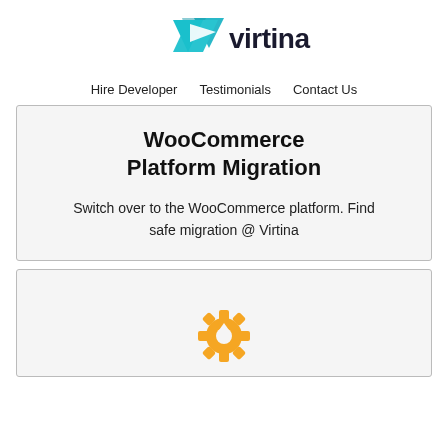[Figure (logo): Virtina logo with teal arrow/chevron icon and dark text 'virtina']
Hire Developer  Testimonials  Contact Us
WooCommerce Platform Migration
Switch over to the WooCommerce platform. Find safe migration @ Virtina
[Figure (illustration): Golden/yellow gear icon with upward arrow inside]